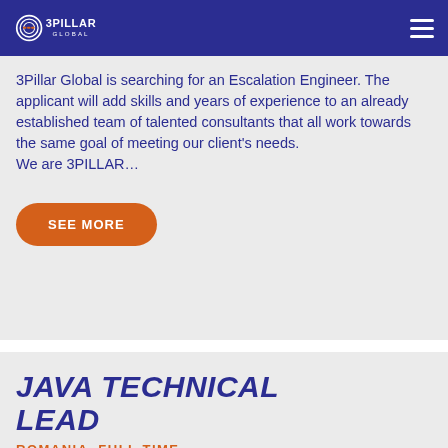3PILLAR GLOBAL
3Pillar Global is searching for an Escalation Engineer. The applicant will add skills and years of experience to an already established team of talented consultants that all work towards the same goal of meeting our client's needs.
We are 3PILLAR…
SEE MORE
JAVA TECHNICAL LEAD
ROMANIA  FULL TIME